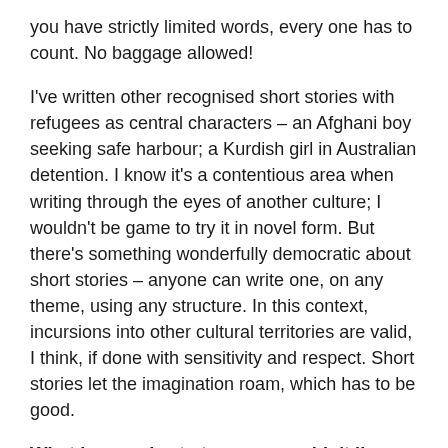you have strictly limited words, every one has to count. No baggage allowed!
I've written other recognised short stories with refugees as central characters – an Afghani boy seeking safe harbour; a Kurdish girl in Australian detention. I know it's a contentious area when writing through the eyes of another culture; I wouldn't be game to try it in novel form. But there's something wonderfully democratic about short stories – anyone can write one, on any theme, using any structure. In this context, incursions into other cultural territories are valid, I think, if done with sensitivity and respect. Short stories let the imagination roam, which has to be good.
What is one short story you couldn't live without?
I'd have to say 'The Stilt Fishermen of Kathaluwa' from Foreign Soil – a short story anthology by